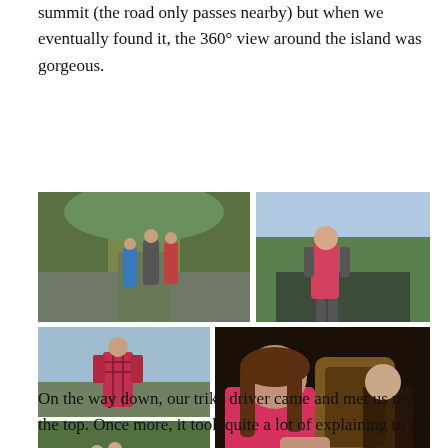summit (the road only passes nearby) but when we eventually found it, the 360° view around the island was gorgeous.
[Figure (photo): Five travel photos arranged in a collage: top-left shows people walking on a road through tropical greenery; top-right shows a woman in pink shirt at a scenic overlook with mountain views; middle-left shows a man in plaid shirt at a viewpoint; bottom-left shows three people walking on a path through lush forest; large right panel shows a girl in pink shirt eating at a restaurant at night.]
On the way down, our trike driver came and met us near the top. Once more, it took quite a lot of explaining to get